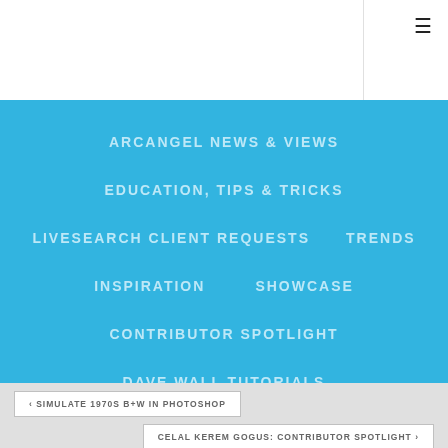☰
ARCANGEL NEWS & VIEWS
EDUCATION, TIPS & TRICKS
LIVESEARCH CLIENT REQUESTS   TRENDS
INSPIRATION   SHOWCASE
CONTRIBUTOR SPOTLIGHT
DAVE WALL TUTORIALS
‹ SIMULATE 1970S B+W IN PHOTOSHOP
CELAL KEREM GOGUS: CONTRIBUTOR SPOTLIGHT ›